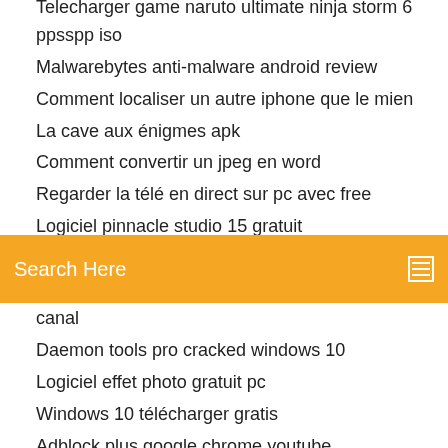Telecharger game naruto ultimate ninja storm 6 ppsspp iso
Malwarebytes anti-malware android review
Comment localiser un autre iphone que le mien
La cave aux énigmes apk
Comment convertir un jpeg en word
Regarder la télé en direct sur pc avec free
Logiciel pinnacle studio 15 gratuit
[Figure (screenshot): Orange search bar with 'Search Here' placeholder text and a menu icon on the right]
canal
Daemon tools pro cracked windows 10
Logiciel effet photo gratuit pc
Windows 10 télécharger gratis
Adblock plus google chrome youtube
Free télécharger gmail for pc windows 7
Comment regarder tv orange sur tablette
Email avec accusé de réception hotmail
How to get adobe audition for gratuit 2020
Windows 7 product key finder gratuit télécharger